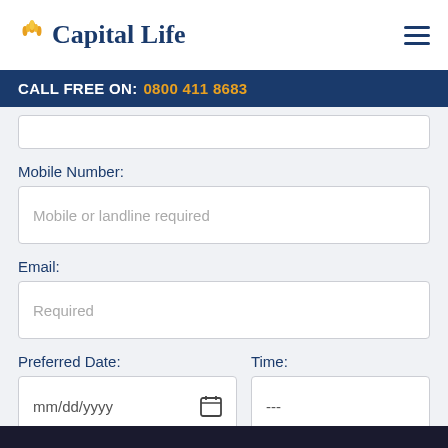Capital Life
CALL FREE ON: 0800 411 8683
Mobile Number:
Mobile or landline required
Email:
Required
Preferred Date:
Time:
mm/dd/yyyy
---